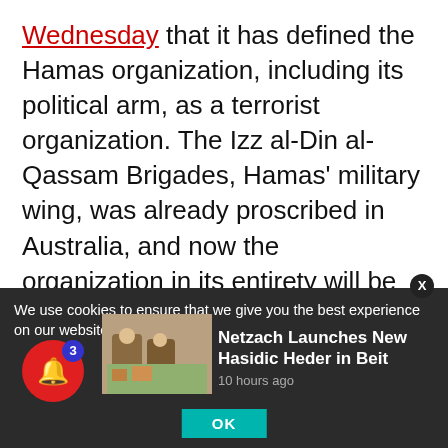Wednesday that it has defined the Hamas organization, including its political arm, as a terrorist organization. The Izz al-Din al-Qassam Brigades, Hamas' military wing, was already proscribed in Australia, and now the organization in its entirety will be defined as a terror organization.

However, the real severe blow now hitting Hamas is Turkey's intention to expel Hamas military operatives from its territory, according to a report
We use cookies to ensure that we give you the best experience on our website. If yo
Netzach Launches New Hasidic Heder in Beit
10 hours ago
OK